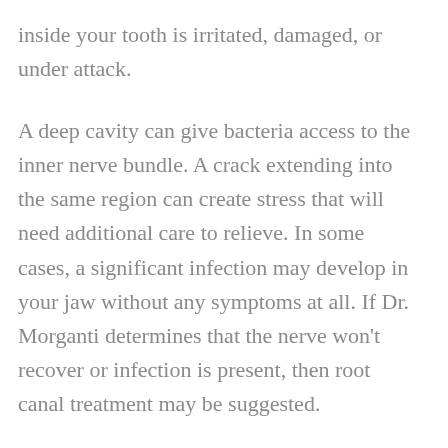inside your tooth is irritated, damaged, or under attack.
A deep cavity can give bacteria access to the inner nerve bundle. A crack extending into the same region can create stress that will need additional care to relieve. In some cases, a significant infection may develop in your jaw without any symptoms at all. If Dr. Morganti determines that the nerve won’t recover or infection is present, then root canal treatment may be suggested.
Modern anesthetics provide powerful numbing for